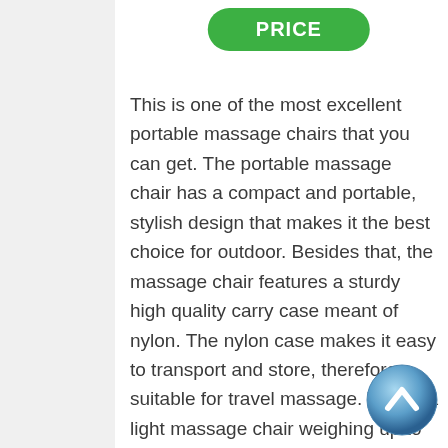PRICE
This is one of the most excellent portable massage chairs that you can get. The portable massage chair has a compact and portable, stylish design that makes it the best choice for outdoor. Besides that, the massage chair features a sturdy high quality carry case meant of nylon. The nylon case makes it easy to transport and store, therefore suitable for travel massage. This is a light massage chair weighing up to 23 lbs.
The portable massage chair features a sturdy and heavy-duty aluminum